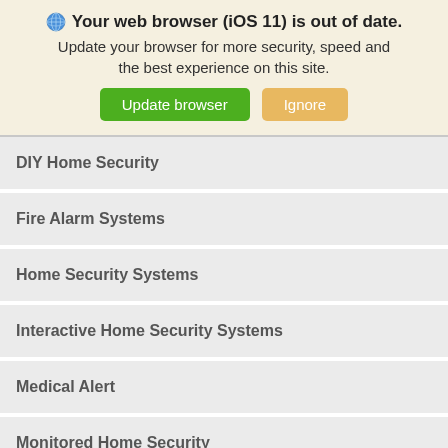🌐 Your web browser (iOS 11) is out of date. Update your browser for more security, speed and the best experience on this site.
Update browser | Ignore
DIY Home Security
Fire Alarm Systems
Home Security Systems
Interactive Home Security Systems
Medical Alert
Monitored Home Security
Remote Access
Surge Protection